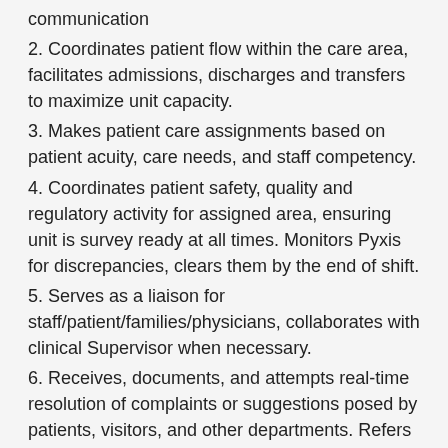communication
2. Coordinates patient flow within the care area, facilitates admissions, discharges and transfers to maximize unit capacity.
3. Makes patient care assignments based on patient acuity, care needs, and staff competency.
4. Coordinates patient safety, quality and regulatory activity for assigned area, ensuring unit is survey ready at all times. Monitors Pyxis for discrepancies, clears them by the end of shift.
5. Serves as a liaison for staff/patient/families/physicians, collaborates with clinical Supervisor when necessary.
6. Receives, documents, and attempts real-time resolution of complaints or suggestions posed by patients, visitors, and other departments. Refers any unresolved situations to clinical Supervisor/Manager.
7. Provides orientation data for all new department...